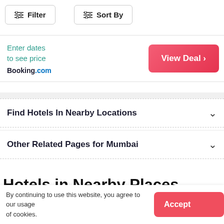Filter
Sort By
Enter dates to see price
Booking.com
View Deal >
Find Hotels In Nearby Locations
Other Related Pages for Mumbai
Hotels in Nearby Places
By continuing to use this website, you agree to our usage of cookies.
Accept